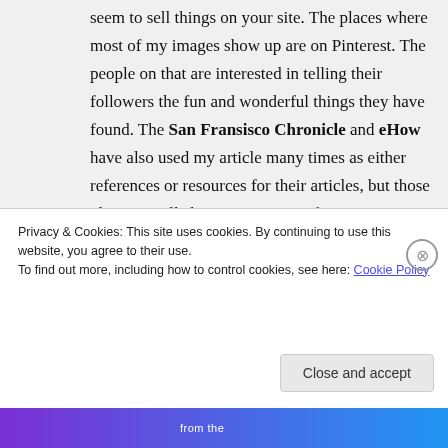seem to sell things on your site. The places where most of my images show up are on Pinterest. The people on that are interested in telling their followers the fun and wonderful things they have found. The San Fransisco Chronicle and eHow have also used my article many times as either references or resources for their articles, but those places are all about promoting information in a positive way. I think it is No at this time.
Privacy & Cookies: This site uses cookies. By continuing to use this website, you agree to their use.
To find out more, including how to control cookies, see here: Cookie Policy